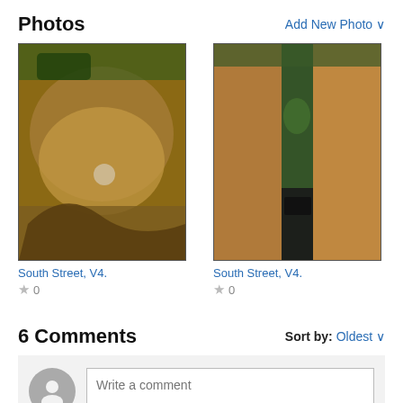Photos
[Figure (photo): Thumbnail photo of a large rock face for South Street, V4.]
South Street, V4.
★ 0
[Figure (photo): Thumbnail photo of a rock crevice/gap for South Street, V4.]
South Street, V4.
★ 0
6 Comments
Sort by: Oldest
Write a comment
Sean Denny  Irvine
Fun route. Good moves.  Aug 10, 2010